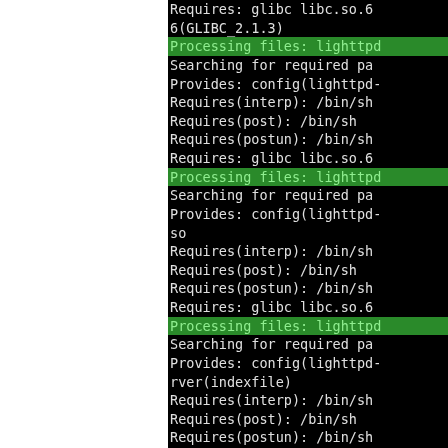[Figure (screenshot): Terminal output showing RPM package processing for lighttpd packages. Left portion is white (cropped). Right side shows black terminal with green-highlighted 'Processing files: lighttpd...' lines alternating with white text lines showing Searching, Provides, Requires entries for multiple lighttpd package builds.]